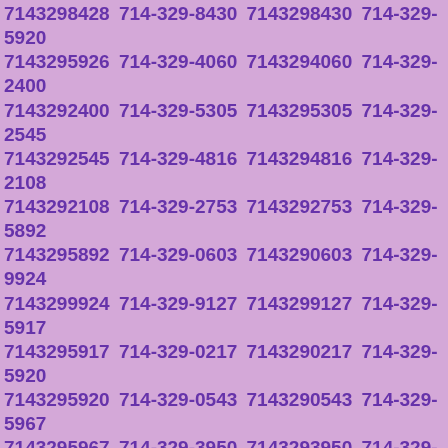7143298428 714-329-8430 7143298430 714-329-5920 7143295926 714-329-4060 7143294060 714-329-2400 7143292400 714-329-5305 7143295305 714-329-2545 7143292545 714-329-4816 7143294816 714-329-2108 7143292108 714-329-2753 7143292753 714-329-5892 7143295892 714-329-0603 7143290603 714-329-9924 7143299924 714-329-9127 7143299127 714-329-5917 7143295917 714-329-0217 7143290217 714-329-5920 7143295920 714-329-0543 7143290543 714-329-5967 7143295967 714-329-3950 7143293950 714-329-6448 7143296448 714-329-2677 7143292677 714-329-3235 7143293235 714-329-5592 7143295592 714-329-7375 7143297375 714-329-2590 7143292590 714-329-7998 7143297998 714-329-6898 7143296898 714-329-6283 7143296283 714-329-4961 7143294961 714-329-9196 7143299196 714-329-3339 7143293339 714-329-4343 7143294343 714-329-6147 7143296147 714-329-1892 7143291892 714-329-7950 7143297950 714-329-5388 7143295388 714-329-3714 7143293714 714-329-2845 7143292845 714-329-1848 7143291848 714-329-9317 7143299317 714-329-0248 7143290248 714-329-5731